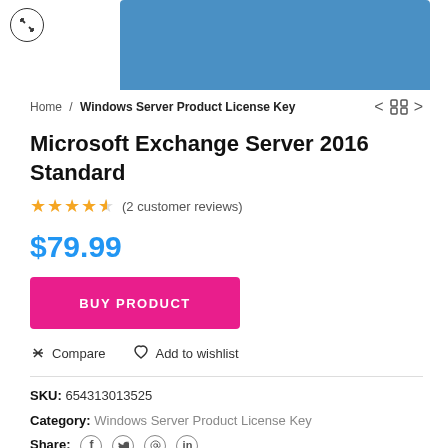[Figure (photo): Partial product image of a blue box/software package with an expand/zoom icon overlay in the top-left corner]
Home / Windows Server Product License Key
Microsoft Exchange Server 2016 Standard
★★★★½ (2 customer reviews)
$79.99
BUY PRODUCT
⇄ Compare   ♡ Add to wishlist
SKU: 654313013525
Category: Windows Server Product License Key
Share: f  🐦  𝗽  in